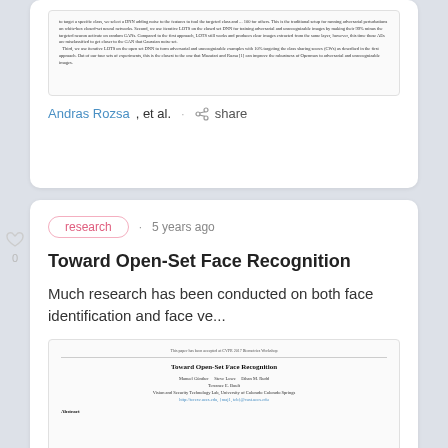[Figure (screenshot): Partial top card showing a paper preview with small text and author line: 'Andras Rozsa, et al. · share']
Andras Rozsa, et al. · share
research · 5 years ago
Toward Open-Set Face Recognition
Much research has been conducted on both face identification and face ve...
[Figure (screenshot): Thumbnail of paper 'Toward Open-Set Face Recognition' by Manuel Günther, Steve Lowe, Ethan M. Rudd, Terrance E. Boult from Vision and Security Technology Lab, University of Colorado Colorado Springs, with Abstract section and colored buttons at bottom.]